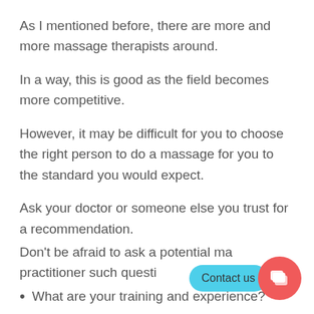As I mentioned before, there are more and more massage therapists around.
In a way, this is good as the field becomes more competitive.
However, it may be difficult for you to choose the right person to do a massage for you to the standard you would expect.
Ask your doctor or someone else you trust for a recommendation.
Don't be afraid to ask a potential massage practitioner such questions as:
What are your training and experience?